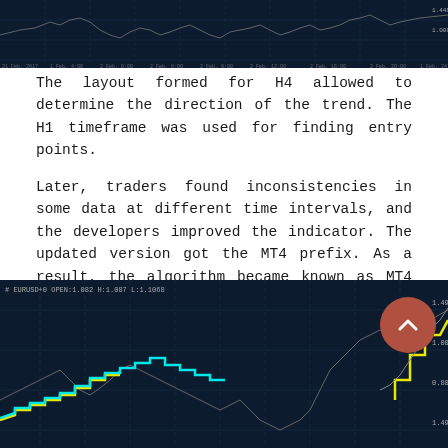[Figure (screenshot): Top portion of a dark financial trading chart (MT4/MT5 style) showing candlestick or line data on a dark navy background with time axis labels along the bottom.]
The layout formed for H4 allowed to determine the direction of the trend. The H1 timeframe was used for finding entry points.
Later, traders found inconsistencies in some data at different time intervals, and the developers improved the indicator. The updated version got the MT4 prefix. As a result, the algorithm became known as MT4 Gann.
After these changes, the indicator started showing bullish and bearish trends in different colors and layout in steps. In this case, indicators from H4 are imported to the H1 chart.
[Figure (screenshot): Bottom portion of a dark financial trading chart showing colored trend lines (yellow and cyan) overlaid on candlestick price data, on a dark navy background, with a red scroll-to-top button overlay.]